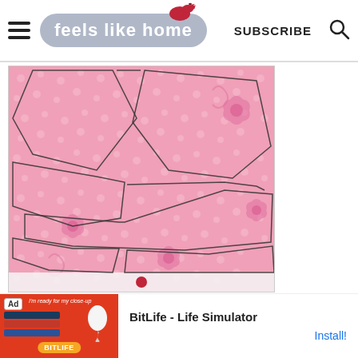feels like home | SUBSCRIBE
[Figure (photo): Pink polka-dot fabric with floral print and pentagon/irregular shapes traced in dark pen on top of the fabric]
[Figure (screenshot): Advertisement banner for BitLife - Life Simulator app with orange/red background and install button]